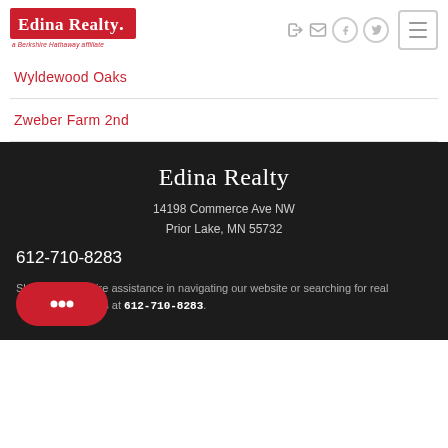[Figure (logo): Edina Realty logo — red box with white text, subtitle 'a Berkshire Hathaway affiliate']
Wyldewood Oaks
Zweber Farm 2nd
Edina Realty
14198 Commerce Ave NW
Prior Lake, MN 55732
612-710-8283
Should you require assistance in navigating our website or searching for real ...ontact our offices at 612-710-8283.